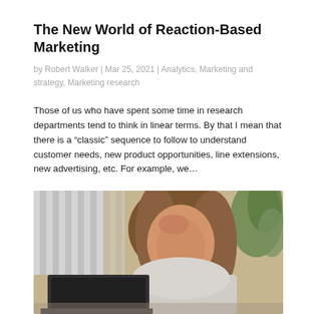The New World of Reaction-Based Marketing
by Robert Walker | Mar 25, 2021 | Analytics, Marketing and strategy, Marketing research
Those of us who have spent some time in research departments tend to think in linear terms. By that I mean that there is a “classic” sequence to follow to understand customer needs, new product opportunities, line extensions, new advertising, etc. For example, we…
[Figure (photo): A frustrated woman with long blonde hair rests her head on her hand while looking at a laptop screen. She is in an office setting with white binders on shelves in the background and plants visible on the right side.]